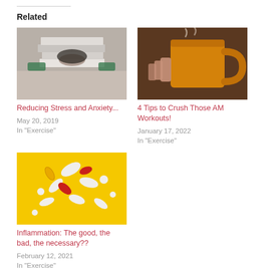Related
[Figure (photo): Person with head resting on stack of books, stress/study scene]
Reducing Stress and Anxiety...
May 20, 2019
In "Exercise"
[Figure (photo): Hand holding a large orange/yellow mug, warm drink scene]
4 Tips to Crush Those AM Workouts!
January 17, 2022
In "Exercise"
[Figure (photo): Various pills and capsules on bright yellow background]
Inflammation: The good, the bad, the necessary??
February 12, 2021
In "Exercise"